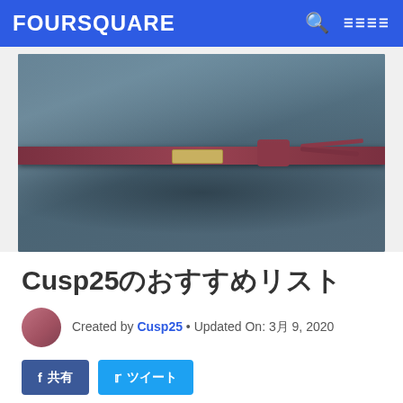FOURSQUARE
[Figure (photo): Close-up photo of a dark felt hat brim with a dark red/burgundy leather hat band and metal buckle accent]
Cusp25のおすすめリスト
Created by Cusp25 • Updated On: 3月 9, 2020
[Figure (photo): Dimly lit interior of what appears to be a bar or lounge with warm lighting]